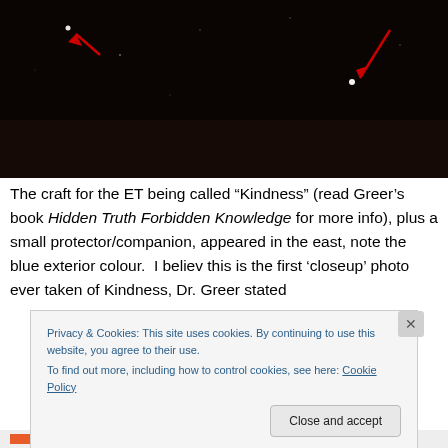[Figure (photo): Dark night sky photograph showing two bright points of light with red arrows pointing to them, suggesting UFO/spacecraft sightings]
The craft for the ET being called “Kindness” (read Greer’s book Hidden Truth Forbidden Knowledge for more info), plus a small protector/companion, appeared in the east, note the blue exterior colour.  I believ this is the first ‘closeup’ photo ever taken of Kindness, Dr. Greer stated
Privacy & Cookies: This site uses cookies. By continuing to use this website, you agree to their use.
To find out more, including how to control cookies, see here: Cookie Policy